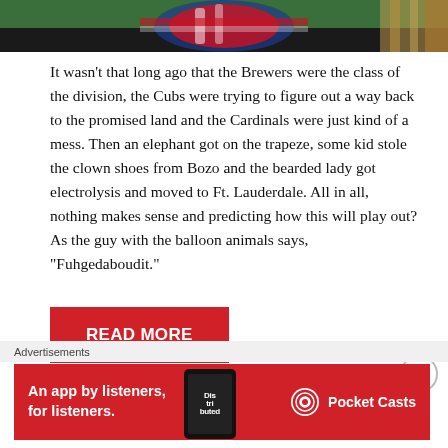[Figure (photo): Top portion of a sports-related image showing what appears to be a baseball or NBA logo with red, white, and blue colors against a green background, partially cropped at the top of the page.]
It wasn't that long ago that the Brewers were the class of the division, the Cubs were trying to figure out a way back to the promised land and the Cardinals were just kind of a mess. Then an elephant got on the trapeze, some kid stole the clown shoes from Bozo and the bearded lady got electrolysis and moved to Ft. Lauderdale. All in all, nothing makes sense and predicting how this will play out? As the guy with the balloon animals says, “Fuhgedaboudit.”
READ MORE
Advertisements
[Figure (infographic): Red advertisement banner for Pocket Casts app. Shows text 'An app by listeners, for listeners.' with a phone graphic showing 'Distributed' text and the Pocket Casts logo and name on the right.]